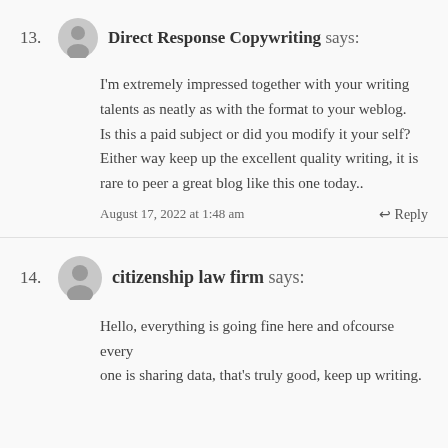13. Direct Response Copywriting says: I'm extremely impressed together with your writing talents as neatly as with the format to your weblog. Is this a paid subject or did you modify it your self? Either way keep up the excellent quality writing, it is rare to peer a great blog like this one today.. August 17, 2022 at 1:48 am Reply
14. citizenship law firm says: Hello, everything is going fine here and ofcourse every one is sharing data, that's truly good, keep up writing.